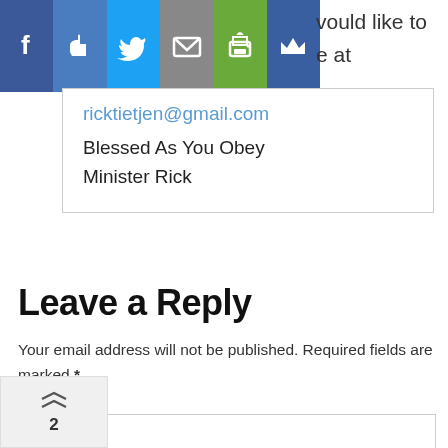[Figure (other): Social sharing toolbar with Facebook, Like, Twitter, Mail, Print, Crown icons]
would like to be at
ricktietjen@gmail.com
Blessed As You Obey
Minister Rick
Leave a Reply
Your email address will not be published. Required fields are marked *
Comment*
[Figure (other): Share/forward icon with count 2]